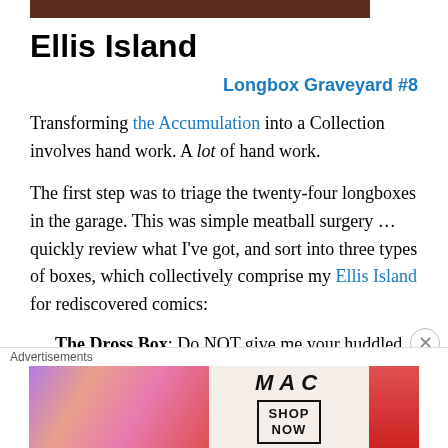[Figure (other): Dark brown/reddish header image bar at top of page]
Ellis Island
Longbox Graveyard #8
Transforming the Accumulation into a Collection involves hand work. A lot of hand work.
The first step was to triage the twenty-four longboxes in the garage. This was simple meatball surgery … quickly review what I've got, and sort into three types of boxes, which collectively comprise my Ellis Island for rediscovered comics:
The Dross Box: Do NOT give me your huddled
[Figure (photo): MAC cosmetics advertisement showing colorful lipsticks with SHOP NOW call to action]